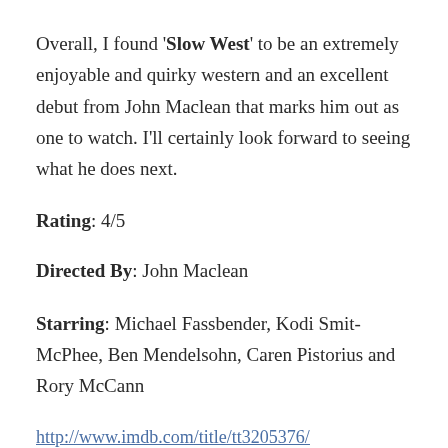Overall, I found 'Slow West' to be an extremely enjoyable and quirky western and an excellent debut from John Maclean that marks him out as one to watch. I'll certainly look forward to seeing what he does next.
Rating: 4/5
Directed By: John Maclean
Starring: Michael Fassbender, Kodi Smit-McPhee, Ben Mendelsohn, Caren Pistorius and Rory McCann
http://www.imdb.com/title/tt3205376/